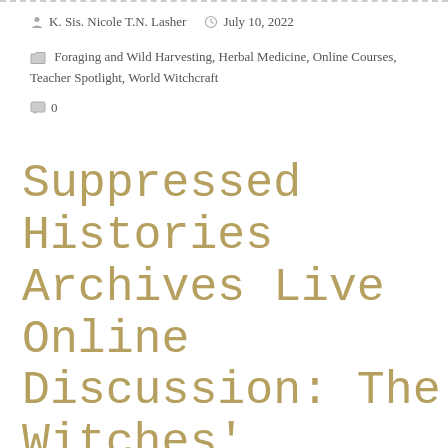K. Sis. Nicole T.N. Lasher   July 10, 2022
Foraging and Wild Harvesting, Herbal Medicine, Online Courses, Teacher Spotlight, World Witchcraft
0
Suppressed Histories Archives Live Online Discussion: The Witches' Goddess Vol X Secret History of the Witches | Facebo…